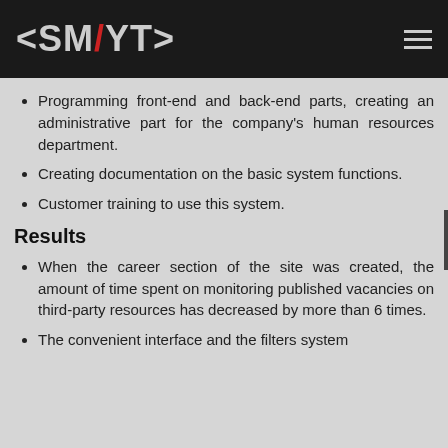<SMYT>
Programming front-end and back-end parts, creating an administrative part for the company's human resources department.
Creating documentation on the basic system functions.
Customer training to use this system.
Results
When the career section of the site was created, the amount of time spent on monitoring published vacancies on third-party resources has decreased by more than 6 times.
The convenient interface and the filters system